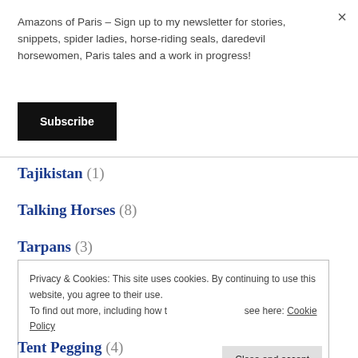Amazons of Paris – Sign up to my newsletter for stories, snippets, spider ladies, horse-riding seals, daredevil horsewomen, Paris tales and a work in progress!
Subscribe
Tajikistan (1)
Talking Horses (8)
Tarpans (3)
Privacy & Cookies: This site uses cookies. By continuing to use this website, you agree to their use. To find out more, including how to control cookies, see here: Cookie Policy
Close and accept
Tent Pegging (4)